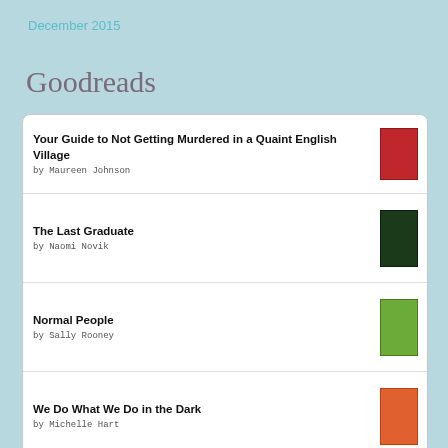December 2015
Goodreads
Your Guide to Not Getting Murdered in a Quaint English Village by Maureen Johnson
The Last Graduate by Naomi Novik
Normal People by Sally Rooney
We Do What We Do in the Dark by Michelle Hart
Last Days